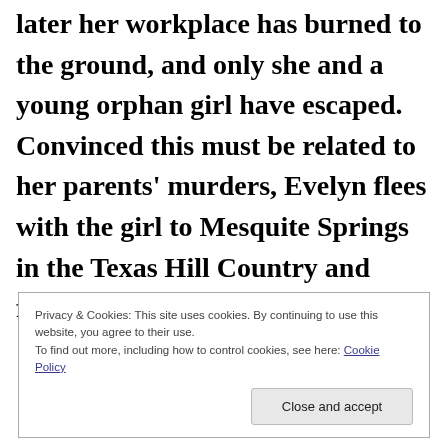later her workplace has burned to the ground, and only she and a young orphan girl have escaped. Convinced this must be related to her parents' murders, Evelyn flees with the girl to Mesquite Springs in the Texas Hill Country and finds refuge in
Privacy & Cookies: This site uses cookies. By continuing to use this website, you agree to their use. To find out more, including how to control cookies, see here: Cookie Policy